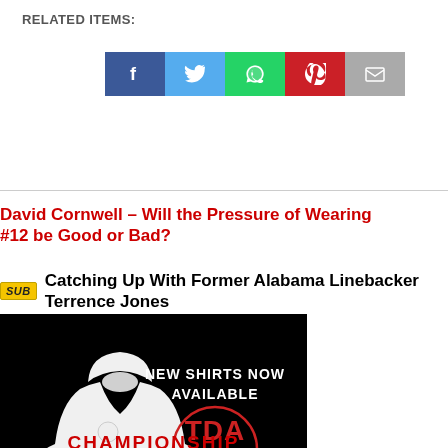RELATED ITEMS:
[Figure (infographic): Social share buttons: Facebook (blue), Twitter (light blue), WhatsApp (green), Pinterest (red), Email (grey)]
David Cornwell – Will the Pressure of Wearing #12 be Good or Bad?
SUB  Catching Up With Former Alabama Linebacker Terrence Jones
[Figure (photo): Advertisement for TDA Wear showing a white hoodie with text 'GOT 18? WE DO!' and TDA Wear logo with 'BUY NOW' button on black background. Text reads NEW SHIRTS NOW AVAILABLE.]
CHAMPIONSHIP COLLECTION